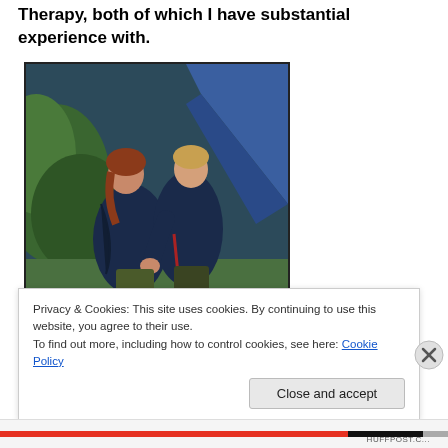Therapy, both of which I have substantial experience with.
[Figure (photo): Two young people in dark blue jackets standing close together outdoors, looking upward. Green foliage in background, blue geometric shape visible. Scene appears to be from a film or TV production.]
Privacy & Cookies: This site uses cookies. By continuing to use this website, you agree to their use.
To find out more, including how to control cookies, see here: Cookie Policy
Close and accept